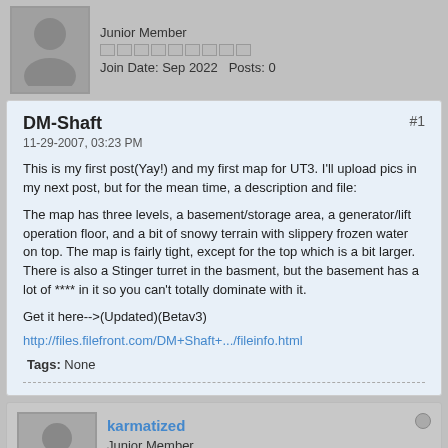[Figure (illustration): Generic user avatar (grey silhouette) for top user]
Junior Member
Join Date: Sep 2022   Posts: 0
DM-Shaft
#1
11-29-2007, 03:23 PM

This is my first post(Yay!) and my first map for UT3. I'll upload pics in my next post, but for the mean time, a description and file:

The map has three levels, a basement/storage area, a generator/lift operation floor, and a bit of snowy terrain with slippery frozen water on top. The map is fairly tight, except for the top which is a bit larger. There is also a Stinger turret in the basment, but the basement has a lot of **** in it so you can't totally dominate with it.

Get it here-->(Updated)(Betav3)
http://files.filefront.com/DM+Shaft+.../fileinfo.html

Tags: None
[Figure (illustration): Generic user avatar (grey silhouette) for karmatized]
karmatized
Junior Member
Join Date: Sep 2022   Posts: 0